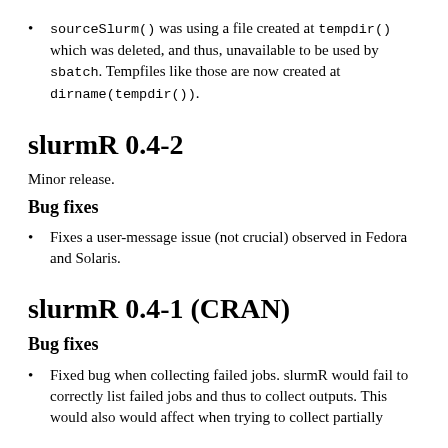sourceSlurm() was using a file created at tempdir() which was deleted, and thus, unavailable to be used by sbatch. Tempfiles like those are now created at dirname(tempdir()).
slurmR 0.4-2
Minor release.
Bug fixes
Fixes a user-message issue (not crucial) observed in Fedora and Solaris.
slurmR 0.4-1 (CRAN)
Bug fixes
Fixed bug when collecting failed jobs. slurmR would fail to correctly list failed jobs and thus to collect outputs. This would also would affect when trying to collect partially